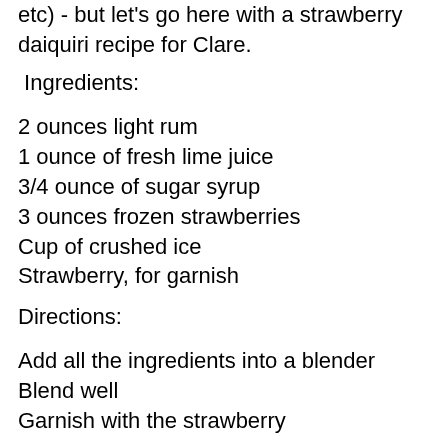etc) - but let's go here with a strawberry daiquiri recipe for Clare.
Ingredients:
2 ounces light rum
1 ounce of fresh lime juice
3/4 ounce of sugar syrup
3 ounces frozen strawberries
Cup of crushed ice
Strawberry, for garnish
Directions:
Add all the ingredients into a blender
Blend well
Garnish with the strawberry
The daiquiri has an interesting history. The name comes from a beach called Daiquiri in Cuba. The drink is supposed to have been invented by an